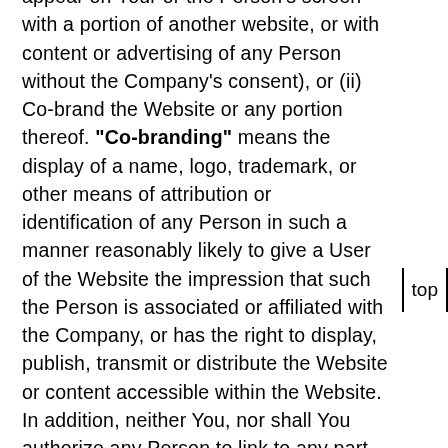appear on Your or the Person's screen with a portion of another website, or with content or advertising of any Person without the Company's consent), or (ii) Co-brand the Website or any portion thereof. "Co-branding" means the display of a name, logo, trademark, or other means of attribution or identification of any Person in such a manner reasonably likely to give a User of the Website the impression that such the Person is associated or affiliated with the Company, or has the right to display, publish, transmit or distribute the Website or content accessible within the Website. In addition, neither You, nor shall You authorize any Person to link to any part of the Website without the